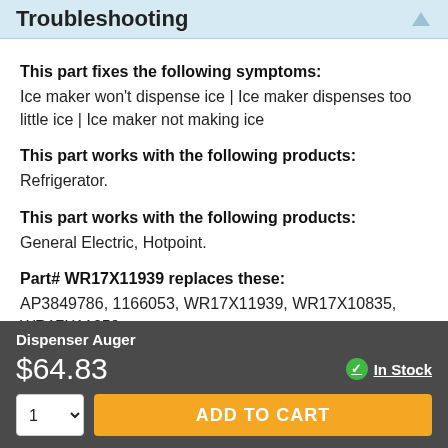Troubleshooting
This part fixes the following symptoms:
Ice maker won't dispense ice | Ice maker dispenses too little ice | Ice maker not making ice
This part works with the following products:
Refrigerator.
This part works with the following products:
General Electric, Hotpoint.
Part# WR17X11939 replaces these:
AP3849786, 1166053, WR17X11939, WR17X10835, WR17X11259
Dispenser Auger
$64.83
In Stock
ADD TO CART